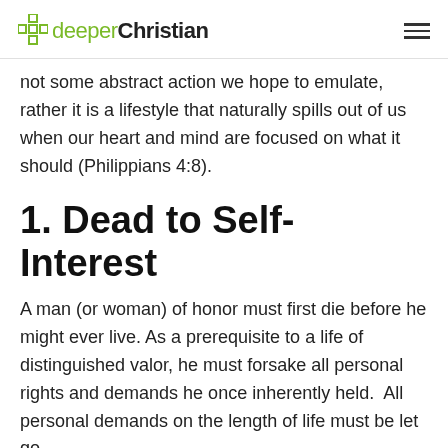deeper Christian
not some abstract action we hope to emulate, rather it is a lifestyle that naturally spills out of us when our heart and mind are focused on what it should (Philippians 4:8).
1. Dead to Self-Interest
A man (or woman) of honor must first die before he might ever live. As a prerequisite to a life of distinguished valor, he must forsake all personal rights and demands he once inherently held.  All personal demands on the length of life must be let go